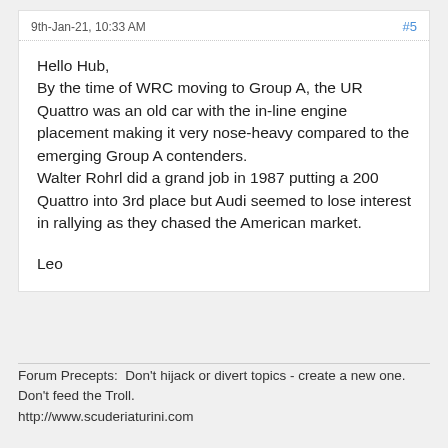9th-Jan-21, 10:33 AM  #5
Hello Hub,
By the time of WRC moving to Group A, the UR Quattro was an old car with the in-line engine placement making it very nose-heavy compared to the emerging Group A contenders.
Walter Rohrl did a grand job in 1987 putting a 200 Quattro into 3rd place but Audi seemed to lose interest in rallying as they chased the American market.

Leo
Forum Precepts:  Don't hijack or divert topics - create a new one.   Don't feed the Troll.
http://www.scuderiaturini.com